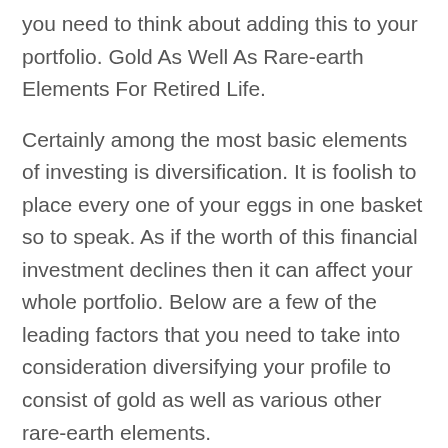you need to think about adding this to your portfolio. Gold As Well As Rare-earth Elements For Retired Life.
Certainly among the most basic elements of investing is diversification. It is foolish to place every one of your eggs in one basket so to speak. As if the worth of this financial investment declines then it can affect your whole portfolio. Below are a few of the leading factors that you need to take into consideration diversifying your profile to consist of gold as well as various other rare-earth elements.
Leading Reasons To Have Gold In Your Retirement Account